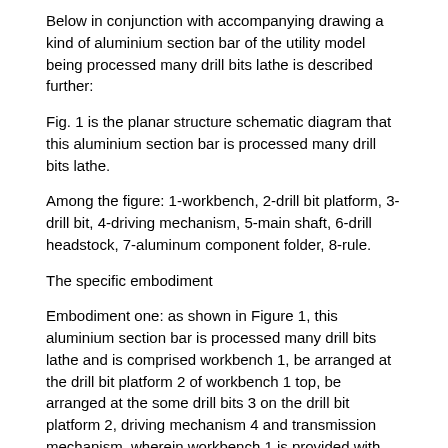Below in conjunction with accompanying drawing a kind of aluminium section bar of the utility model being processed many drill bits lathe is described further:
Fig. 1 is the planar structure schematic diagram that this aluminium section bar is processed many drill bits lathe.
Among the figure: 1-workbench, 2-drill bit platform, 3-drill bit, 4-driving mechanism, 5-main shaft, 6-drill headstock, 7-aluminum component folder, 8-rule.
The specific embodiment
Embodiment one: as shown in Figure 1, this aluminium section bar is processed many drill bits lathe and is comprised workbench 1, be arranged at the drill bit platform 2 of workbench 1 top, be arranged at the some drill bits 3 on the drill bit platform 2, driving mechanism 4 and transmission mechanism, wherein workbench 1 is provided with some riser guides, drill bit platform 2 can move up and down along the relative workbench 1 of riser guide, described transmission mechanism comprises main shaft 5 and some drill headstocks 6, wherein main shaft 5 drives rotation by driving mechanism 4, its end